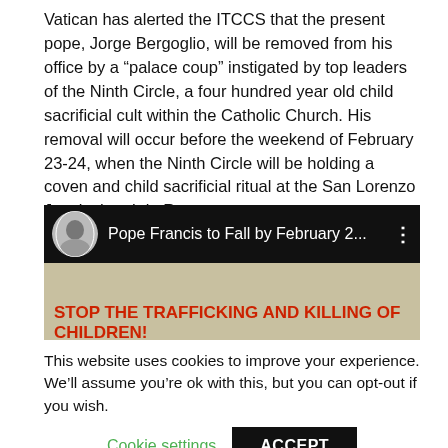Vatican has alerted the ITCCS that the present pope, Jorge Bergoglio, will be removed from his office by a “palace coup” instigated by top leaders of the Ninth Circle, a four hundred year old child sacrificial cult within the Catholic Church. His removal will occur before the weekend of February 23-24, when the Ninth Circle will be holding a coven and child sacrificial ritual at the San Lorenzo Jesuit church in Rome.
[Figure (screenshot): YouTube video thumbnail showing a man in a suit with title 'Pope Francis to Fall by February 2...' and a protest sign reading 'STOP THE TRAFFICKING AND KILLING OF CHILDREN! BOYCOTT AND DISESTABLISH THE ROMAN CATHOLIC CHURCH:']
This website uses cookies to improve your experience. We’ll assume you’re ok with this, but you can opt-out if you wish.
Cookie settings   ACCEPT